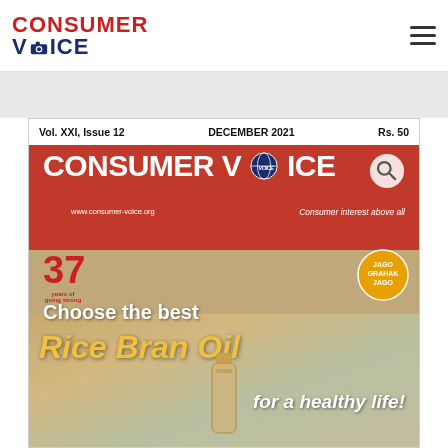CONSUMER VOICE
[Figure (screenshot): Consumer Voice magazine cover, December 2021, Vol. XXI Issue 12, Rs. 50. Features headline 'Choose the best Rice Bran Oil for a healthy life!' with an oil bottle image.]